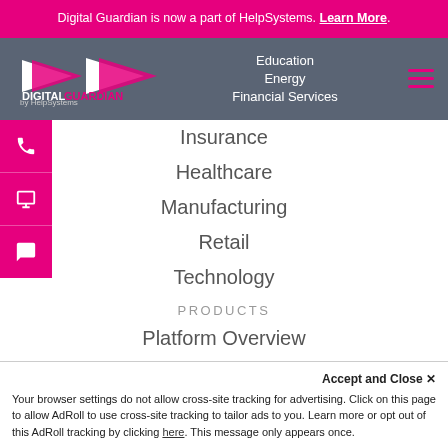Digital Guardian is now a part of HelpSystems. Learn More.
[Figure (logo): Digital Guardian by HelpSystems logo with navigation links: Education, Energy, Financial Services and hamburger menu]
Insurance
Healthcare
Manufacturing
Retail
Technology
PRODUCTS
Platform Overview
Management Console
Analytics & Reporting (partially visible)
Accept and Close ✕
Your browser settings do not allow cross-site tracking for advertising. Click on this page to allow AdRoll to use cross-site tracking to tailor ads to you. Learn more or opt out of this AdRoll tracking by clicking here. This message only appears once.